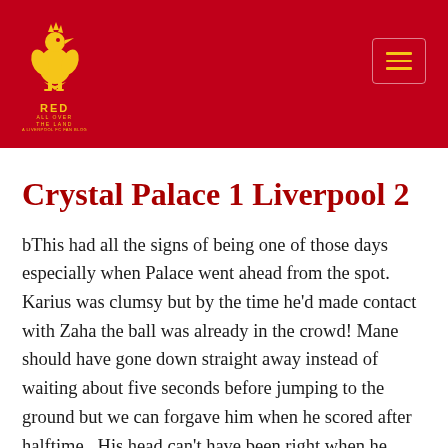[Figure (logo): Liverpool FC Liver Bird logo with 'RED ALL OVER THE LAND' text in gold on red background]
Crystal Palace 1 Liverpool 2
bThis had all the signs of being one of those days especially when Palace went ahead from the spot. Karius was clumsy but by the time he'd made contact with Zaha the ball was already in the crowd! Mane should have gone down straight away instead of waiting about five seconds before jumping to the ground but we can forgave him when he scored after halftime.  His head can't have been right when he picked the ball up thinking he'd been fouled but thankfully the ref decided on leniency.